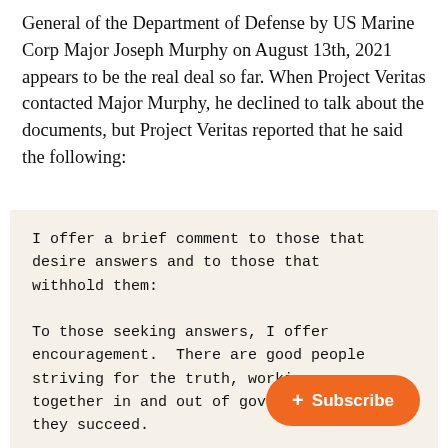General of the Department of Defense by US Marine Corp Major Joseph Murphy on August 13th, 2021 appears to be the real deal so far. When Project Veritas contacted Major Murphy, he declined to talk about the documents, but Project Veritas reported that he said the following:
[Figure (screenshot): A scanned/photographed document on aged paper with typewriter font text containing a quote from Major Murphy: 'I offer a brief comment to those that desire answers and to those that withhold them: To those seeking answers, I offer encouragement. There are good people striving for the truth, working together in and out of government, and they succeed. To those that withhold, I [obscured] Find the moral courage to c[obscured] Don't let a lie be our legacy to']
+ Subscribe